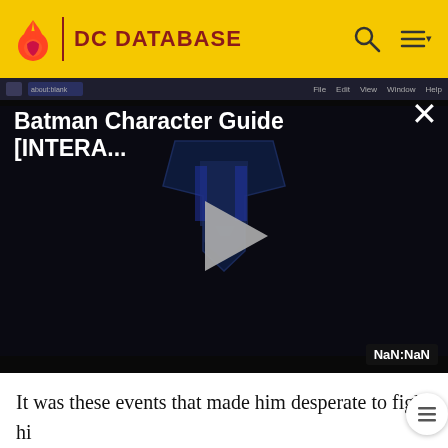DC DATABASE
[Figure (screenshot): Video player showing 'Batman Character Guide [INTERA...' with a Justice League logo placeholder, play button, and NaN:NaN timestamp. Displayed in a dark video player interface with a browser chrome bar at top and a close (X) button.]
It was these events that made him desperate to fight his fire obsession and after seeing The Rogues in action in Central City, he decided to use his mania to become a super villain. He created a protective costume made of asbestos (this was back before the dangers of asbestos